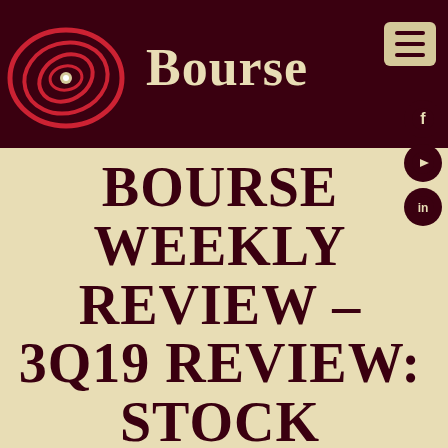Bourse
BOURSE WEEKLY REVIEW – 3Q19 REVIEW: STOCK MARKET CLIMB CONTINUES